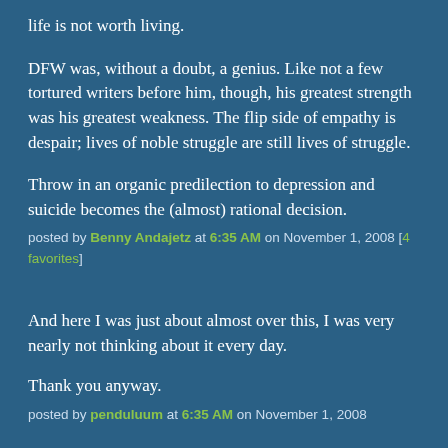life is not worth living.
DFW was, without a doubt, a genius. Like not a few tortured writers before him, though, his greatest strength was his greatest weakness. The flip side of empathy is despair; lives of noble struggle are still lives of struggle.
Throw in an organic predilection to depression and suicide becomes the (almost) rational decision.
posted by Benny Andajetz at 6:35 AM on November 1, 2008 [4 favorites]
And here I was just about almost over this, I was very nearly not thinking about it every day.
Thank you anyway.
posted by penduluum at 6:35 AM on November 1, 2008